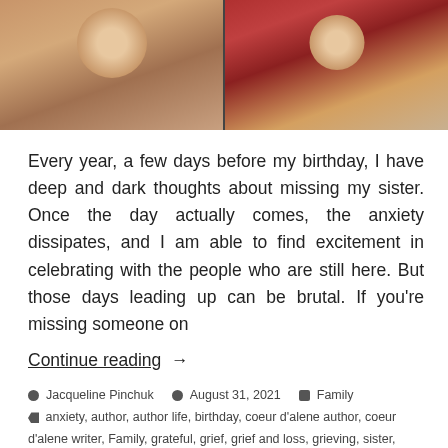[Figure (photo): Two side-by-side vintage childhood photos showing young girls. Left photo: a smiling toddler girl. Right photo: a toddler girl with a red curtain background.]
Every year, a few days before my birthday, I have deep and dark thoughts about missing my sister. Once the day actually comes, the anxiety dissipates, and I am able to find excitement in celebrating with the people who are still here. But those days leading up can be brutal. If you're missing someone on
Continue reading →
Jacqueline Pinchuk   August 31, 2021   Family
anxiety, author, author life, birthday, coeur d'alene author, coeur d'alene writer, Family, grateful, grief, grief and loss, grieving, sister, sisters, thankful, writer, writer life
Leave a comment